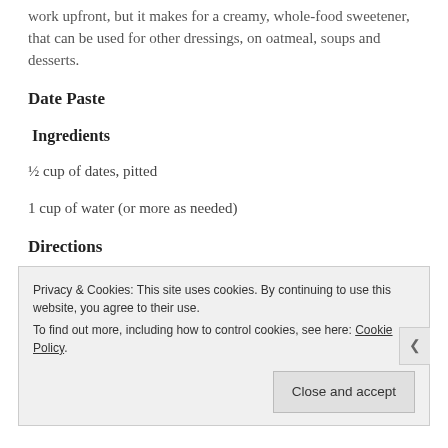work upfront, but it makes for a creamy, whole-food sweetener, that can be used for other dressings, on oatmeal, soups and desserts.
Date Paste
Ingredients
½ cup of dates, pitted
1 cup of water (or more as needed)
Directions
Privacy & Cookies: This site uses cookies. By continuing to use this website, you agree to their use.
To find out more, including how to control cookies, see here: Cookie Policy